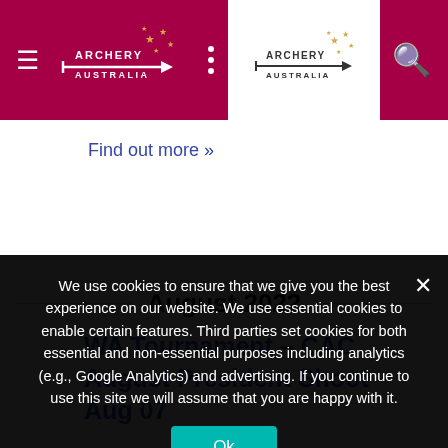Archery Australia navigation header with hamburger menu, Archery Australia logo, dots button, Archery Australia secondary logo, and search icon
Find out more »
August 2022
WA Tournament – CAC August President Shoot – Aug 07
We use cookies to ensure that we give you the best experience on our website. We use essential cookies to enable certain features. Third parties set cookies for both essential and non-essential purposes including analytics (e.g., Google Analytics) and advertising. If you continue to use this site we will assume that you are happy with it.